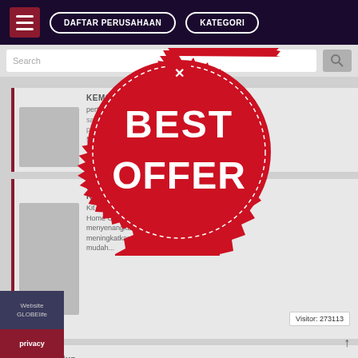DAFTAR PERUSAHAAN   KATEGORI
Search
KEMOH
pertama... rambut rusak dan sangat tidak. Konsentrasi bahan aktif terhadap pertama de rambut, cukup dalam formulir revolusi dan dari ...
UMU ASSIS... RUMAH PERAWATAN KEMO...
Kit Home Care... dan Home Care Home Care sama... Keduanya memiliki menyenangkan aroma. Penggunaan mereka meningkatkan elasticitas rambut, membuat mudah...
[Figure (other): BEST OFFER red stamp/seal overlay with close button]
Visitor: 273113
Website GLOBElife
privacy
Liding Hidup...